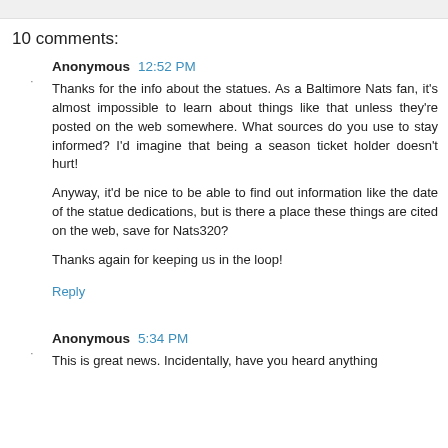10 comments:
Anonymous 12:52 PM
Thanks for the info about the statues. As a Baltimore Nats fan, it's almost impossible to learn about things like that unless they're posted on the web somewhere. What sources do you use to stay informed? I'd imagine that being a season ticket holder doesn't hurt!

Anyway, it'd be nice to be able to find out information like the date of the statue dedications, but is there a place these things are cited on the web, save for Nats320?

Thanks again for keeping us in the loop!
Reply
Anonymous 5:34 PM
This is great news. Incidentally, have you heard anything